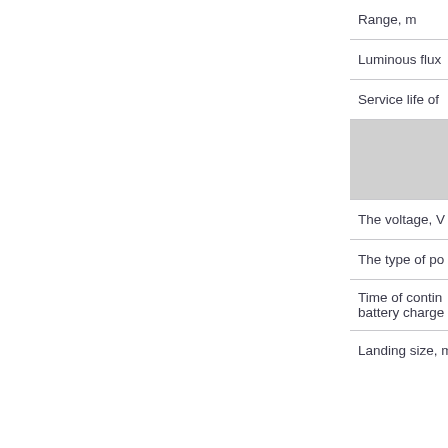| Range, m |
| Luminous flux… |
| Service life of… |
|  |
| The voltage, V… |
| The type of po… |
| Time of contin…
battery charge… |
| Landing size, m… |